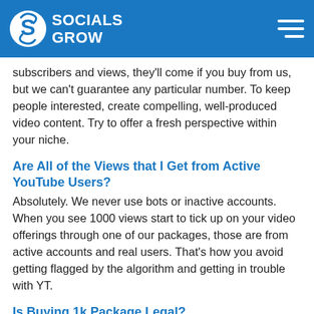SOCIALS GROW
subscribers and views, they'll come if you buy from us, but we can't guarantee any particular number. To keep people interested, create compelling, well-produced video content. Try to offer a fresh perspective within your niche.
Are All of the Views that I Get from Active YouTube Users?
Absolutely. We never use bots or inactive accounts. When you see 1000 views start to tick up on your video offerings through one of our packages, those are from active accounts and real users. That's how you avoid getting flagged by the algorithm and getting in trouble with YT.
Is Buying 1k Package Legal?
Yes. There is nothing unethical or illegal about buying subscribers, views, or other numbers. It is not